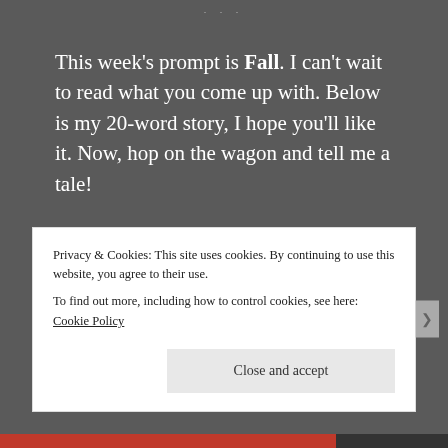· · ·
This week's prompt is Fall. I can't wait to read what you come up with. Below is my 20-word story, I hope you'll like it. Now, hop on the wagon and tell me a tale!
Fall
Her heart's floor was covered with fallen
Privacy & Cookies: This site uses cookies. By continuing to use this website, you agree to their use.
To find out more, including how to control cookies, see here: Cookie Policy
Close and accept